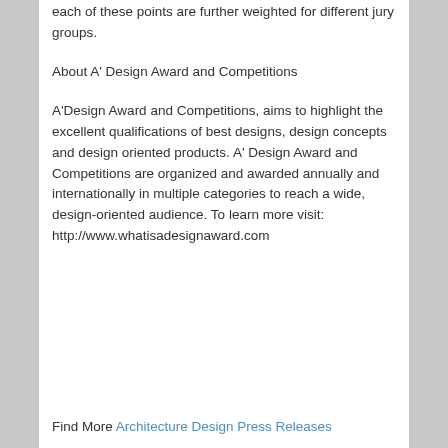each of these points are further weighted for different jury groups.
About A' Design Award and Competitions
A'Design Award and Competitions, aims to highlight the excellent qualifications of best designs, design concepts and design oriented products. A' Design Award and Competitions are organized and awarded annually and internationally in multiple categories to reach a wide, design-oriented audience. To learn more visit: http://www.whatisadesignaward.com
Find More Architecture Design Press Releases